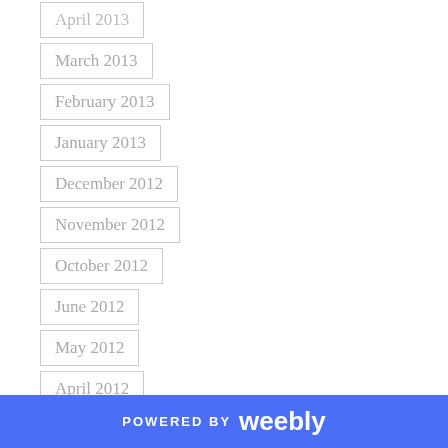April 2013
March 2013
February 2013
January 2013
December 2012
November 2012
October 2012
June 2012
May 2012
April 2012
March 2012
February 2012
January 2012
December 2011
POWERED BY weebly